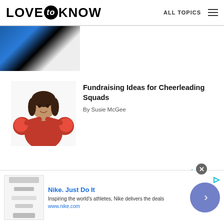LOVE to KNOW — ALL TOPICS
[Figure (photo): Partial image of a cheerleader with blue pom-poms at the top of the page]
[Figure (photo): Young girl in red cheerleading outfit holding red pom-poms]
Fundraising Ideas for Cheerleading Squads
By Susie McGee
[Figure (other): Cyan play button triangle icon]
[Figure (other): Advertisement banner: Nike. Just Do It — Inspiring the world's athletes, Nike delivers the deals — www.nike.com]